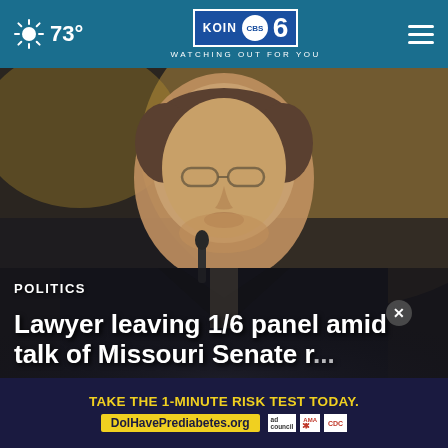73° | KOIN CBS 6 | WATCHING OUT FOR YOU
[Figure (photo): Close-up photo of a man with glasses wearing a dark suit at a microphone or podium, blurred background]
POLITICS
Lawyer leaving 1/6 panel amid talk of Missouri Senate r...
TAKE THE 1-MINUTE RISK TEST TODAY. DolHavePrediabetes.org